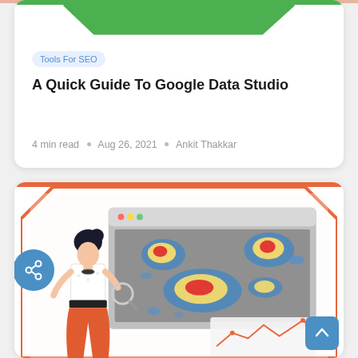[Figure (illustration): Top portion of a blog post card with green angled border/shape at top, category tag 'Tools For SEO', article title 'A Quick Guide To Google Data Studio', and metadata showing 4 min read, Aug 26 2021, Ankit Thakkar]
Tools For SEO
A Quick Guide To Google Data Studio
4 min read • Aug 26, 2021 • Ankit Thakkar
[Figure (illustration): Bottom blog card with orange octagonal frame border, illustration of a woman holding a magnifying glass looking at a heatmap analytics screen, with a line chart visible in the lower right corner. Blue share button on left and blue up-arrow button on bottom right.]